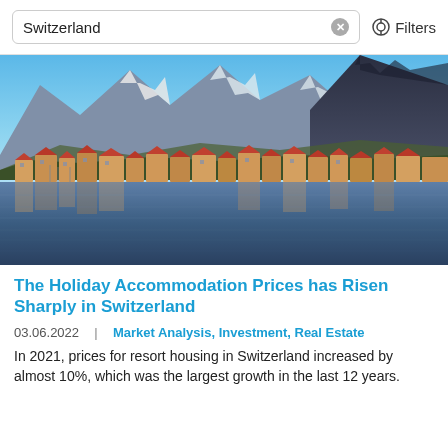Switzerland   Filters
[Figure (photo): Panoramic view of a Swiss lakeside town with colorful buildings reflected in the water, mountains with snow-capped peaks in the background under a blue sky.]
The Holiday Accommodation Prices has Risen Sharply in Switzerland
03.06.2022  |  Market Analysis, Investment, Real Estate
In 2021, prices for resort housing in Switzerland increased by almost 10%, which was the largest growth in the last 12 years.